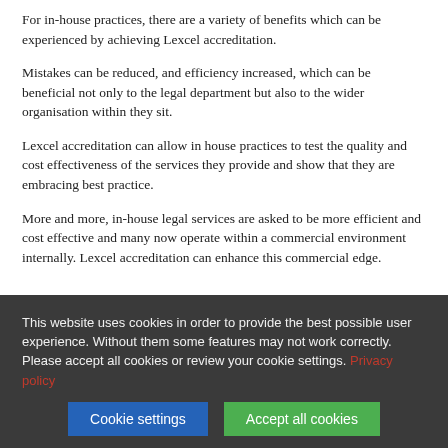For in-house practices, there are a variety of benefits which can be experienced by achieving Lexcel accreditation.
Mistakes can be reduced, and efficiency increased, which can be beneficial not only to the legal department but also to the wider organisation within they sit.
Lexcel accreditation can allow in house practices to test the quality and cost effectiveness of the services they provide and show that they are embracing best practice.
More and more, in-house legal services are asked to be more efficient and cost effective and many now operate within a commercial environment internally. Lexcel accreditation can enhance this commercial edge.
This website uses cookies in order to provide the best possible user experience. Without them some features may not work correctly. Please accept all cookies or review your cookie settings. Privacy policy